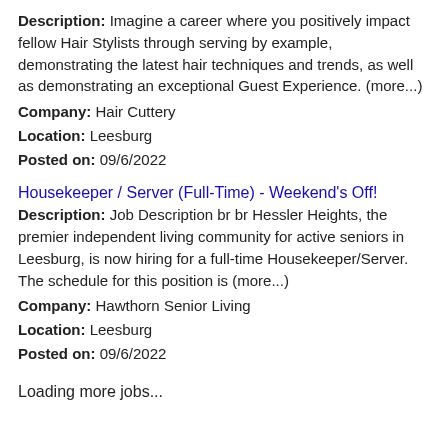Description: Imagine a career where you positively impact fellow Hair Stylists through serving by example, demonstrating the latest hair techniques and trends, as well as demonstrating an exceptional Guest Experience. (more...)
Company: Hair Cuttery
Location: Leesburg
Posted on: 09/6/2022
Housekeeper / Server (Full-Time) - Weekend's Off!
Description: Job Description br br Hessler Heights, the premier independent living community for active seniors in Leesburg, is now hiring for a full-time Housekeeper/Server. The schedule for this position is (more...)
Company: Hawthorn Senior Living
Location: Leesburg
Posted on: 09/6/2022
Loading more jobs...